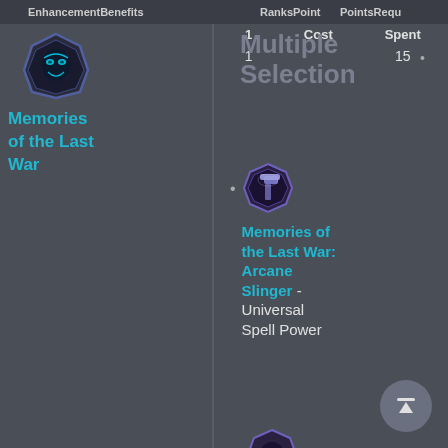EnhancementBenefits   RanksPoint  PointsRequ
[Figure (illustration): Octagonal game icon showing a dark masked figure (Memories of the Last War)]
Memories of the Last War
Multiple Selection
Memories of the Last War: Arcane Slinger - Universal Spell Power
Memories of the Last War: Final Witness - Saves
| Ranks | Point Cost | Points Spent |
| --- | --- | --- |
| 1 | 1 | 15 |
• N